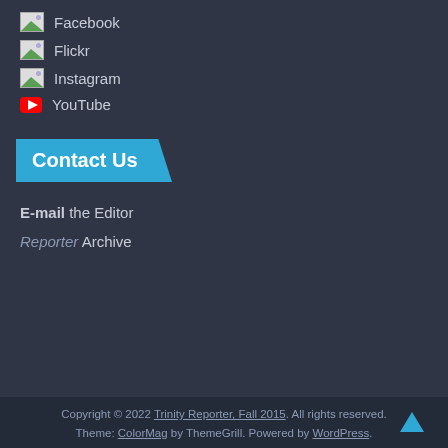Facebook
Flickr
Instagram
YouTube
Contact Us
E-mail the Editor
Reporter Archive
Copyright © 2022 Trinity Reporter, Fall 2015. All rights reserved. Theme: ColorMag by ThemeGrill. Powered by WordPress.